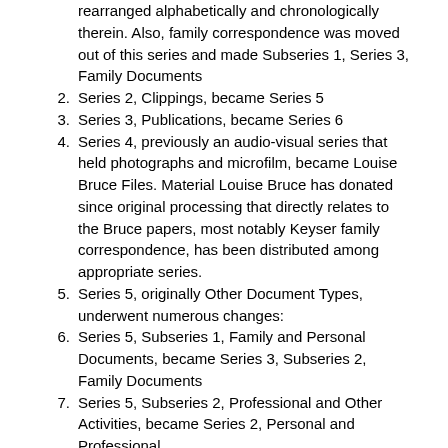rearranged alphabetically and chronologically therein. Also, family correspondence was moved out of this series and made Subseries 1, Series 3, Family Documents
2. Series 2, Clippings, became Series 5
3. Series 3, Publications, became Series 6
4. Series 4, previously an audio-visual series that held photographs and microfilm, became Louise Bruce Files. Material Louise Bruce has donated since original processing that directly relates to the Bruce papers, most notably Keyser family correspondence, has been distributed among appropriate series.
5. Series 5, originally Other Document Types, underwent numerous changes:
6. Series 5, Subseries 1, Family and Personal Documents, became Series 3, Subseries 2, Family Documents
7. Series 5, Subseries 2, Professional and Other Activities, became Series 2, Personal and Professional
8. Series 7 was created for Photographs and Slides
9. Series 8 was created for Scrapbooks
10. Series 9 was created for Memorabilia
11. Series 10 was created for Paintings